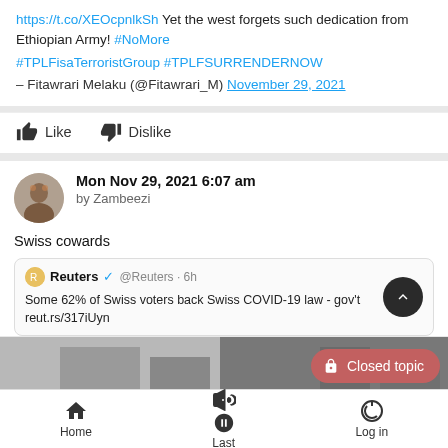https://t.co/XEOcpnlkSh Yet the west forgets such dedication from Ethiopian Army! #NoMore #TPLFisaTerroristGroup #TPLFSURRENDERNOW — Fitawrari Melaku (@Fitawrari_M) November 29, 2021
Like  Dislike
Mon Nov 29, 2021 6:07 am
by Zambeezi
Swiss cowards
Reuters @Reuters · 6h
Some 62% of Swiss voters back Swiss COVID-19 law - gov't reut.rs/317iUyn
[Figure (screenshot): Partial street photo with a 'Closed topic' button overlay]
Home  Last  Log in